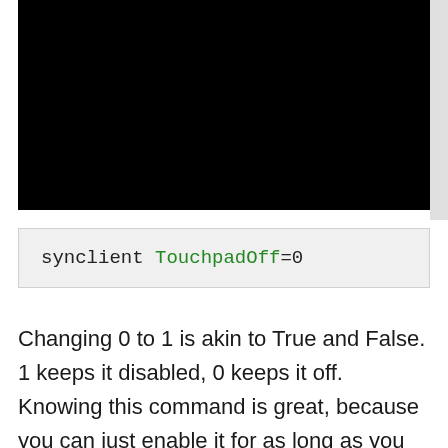[Figure (screenshot): Black terminal/screen area representing a screenshot of a terminal window]
Changing 0 to 1 is akin to True and False. 1 keeps it disabled, 0 keeps it off. Knowing this command is great, because you can just enable it for as long as you need it, then just reboot (or